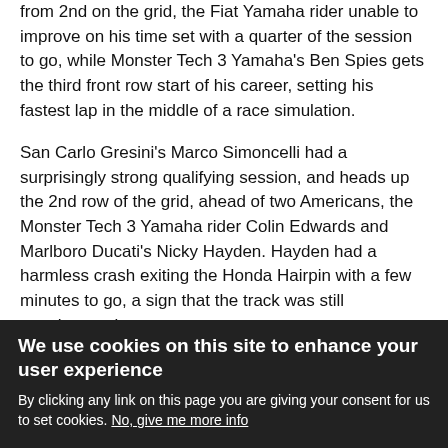from 2nd on the grid, the Fiat Yamaha rider unable to improve on his time set with a quarter of the session to go, while Monster Tech 3 Yamaha's Ben Spies gets the third front row start of his career, setting his fastest lap in the middle of a race simulation.
San Carlo Gresini's Marco Simoncelli had a surprisingly strong qualifying session, and heads up the 2nd row of the grid, ahead of two Americans, the Monster Tech 3 Yamaha rider Colin Edwards and Marlboro Ducati's Nicky Hayden. Hayden had a harmless crash exiting the Honda Hairpin with a few minutes to go, a sign that the track was still treacherous in some spots.
LCR Honda's Randy de Puniet will start from 7th, while nine-time world champion - and Phillip Island specialist -
We use cookies on this site to enhance your user experience
By clicking any link on this page you are giving your consent for us to set cookies. No, give me more info